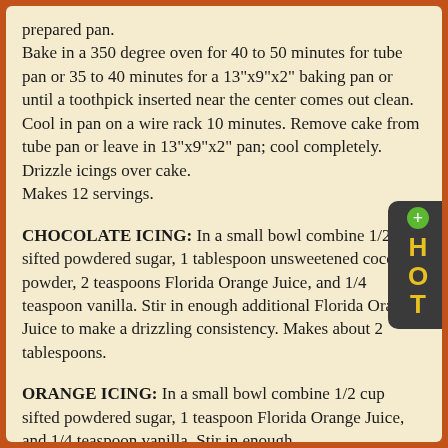prepared pan.
Bake in a 350 degree oven for 40 to 50 minutes for tube pan or 35 to 40 minutes for a 13"x9"x2" baking pan or until a toothpick inserted near the center comes out clean. Cool in pan on a wire rack 10 minutes. Remove cake from tube pan or leave in 13"x9"x2" pan; cool completely. Drizzle icings over cake.
Makes 12 servings.
CHOCOLATE ICING: In a small bowl combine 1/2 cup sifted powdered sugar, 1 tablespoon unsweetened cocoa powder, 2 teaspoons Florida Orange Juice, and 1/4 teaspoon vanilla. Stir in enough additional Florida Orange Juice to make a drizzling consistency. Makes about 2 tablespoons.
ORANGE ICING: In a small bowl combine 1/2 cup sifted powdered sugar, 1 teaspoon Florida Orange Juice, and 1/4 teaspoon vanilla. Stir in enough